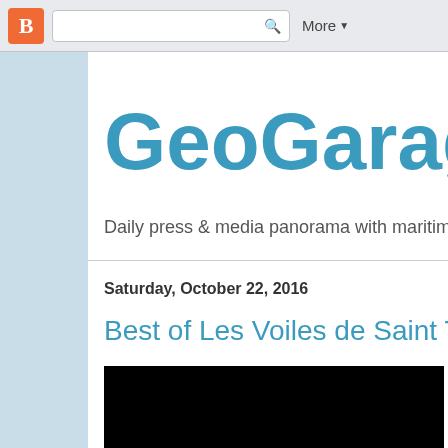Blogger navigation bar with search and More button
GeoGarage bl
Daily press & media panorama with maritime the...
Saturday, October 22, 2016
Best of Les Voiles de Saint Tropez 20
[Figure (photo): Black video/image embed area for Les Voiles de Saint Tropez blog post]